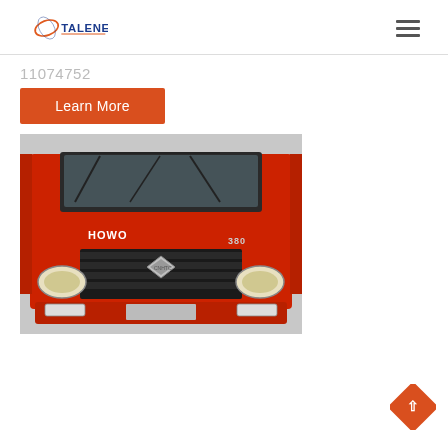TALENET
11074752
Learn More
[Figure (photo): Front view of a red HOWO 380 truck (Sinotruk brand), showing the grille, headlights, and front bumper area.]